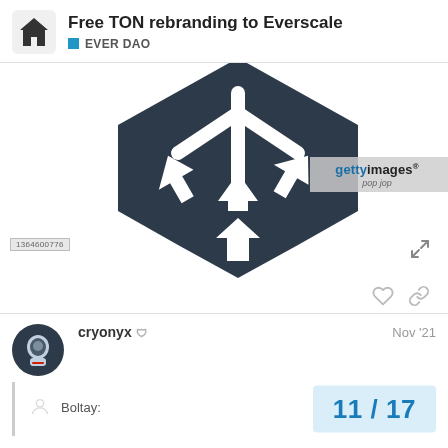Free TON rebranding to Everscale — EVER DAO
[Figure (illustration): Dark navy hexagonal logo with white arrows pointing outward and downward — Everscale/Free TON branding image with Getty Images watermark. Image ID: 1364600776]
cryonyx  Nov '21
Boltay:
11 / 17